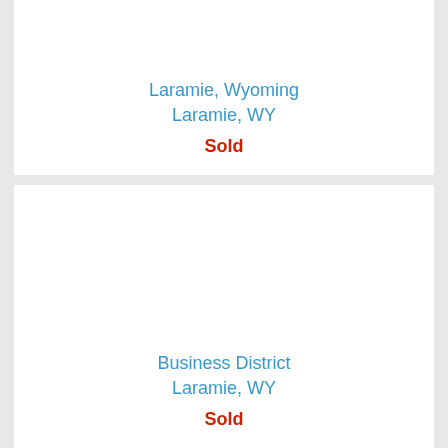Laramie, Wyoming
Laramie, WY
Sold
Business District
Laramie, WY
Sold